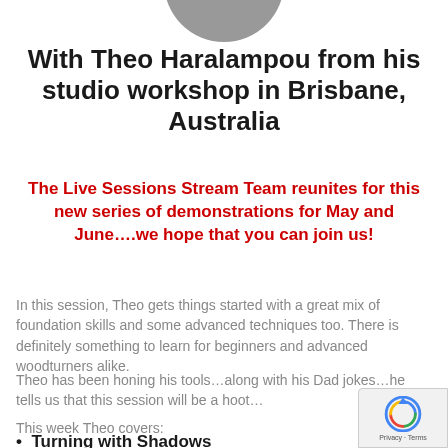[Figure (illustration): Partial circular avatar/profile image in gray, cropped at top of page]
With Theo Haralampou from his studio workshop in Brisbane, Australia
The Live Sessions Stream Team reunites for this new series of demonstrations for May and June….we hope that you can join us!
In this session, Theo gets things started with a great mix of foundation skills and some advanced techniques too. There is definitely something to learn for beginners and advanced woodturners alike.
Theo has been honing his tools…along with his Dad jokes…he tells us that this session will be a hoot…
This week Theo covers:
Turning with Shadows